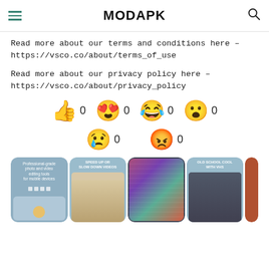MODAPK
Read more about our terms and conditions here – https://vsco.co/about/terms_of_use
Read more about our privacy policy here – https://vsco.co/about/privacy_policy
[Figure (infographic): Six emoji reaction buttons each showing a count of 0: thumbs up, heart eyes, laughing crying, shocked/wow, sad crying, angry red face.]
[Figure (screenshot): Row of app screenshots showing VSCO features: professional-grade photo and video editing tools, Speed Up or Slow Down Videos, a photo with color glitch effect, Old School Cool with VHS filter.]